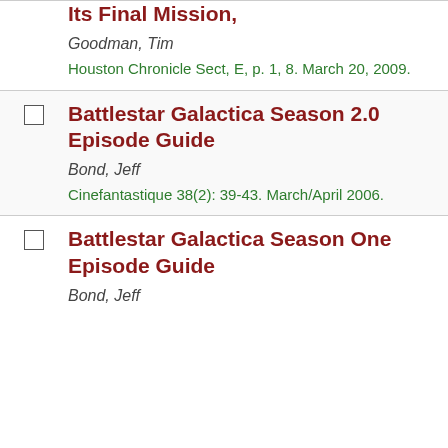Its Final Mission,
Goodman, Tim
Houston Chronicle Sect, E, p. 1, 8. March 20, 2009.
Battlestar Galactica Season 2.0 Episode Guide
Bond, Jeff
Cinefantastique 38(2): 39-43. March/April 2006.
Battlestar Galactica Season One Episode Guide
Bond, Jeff